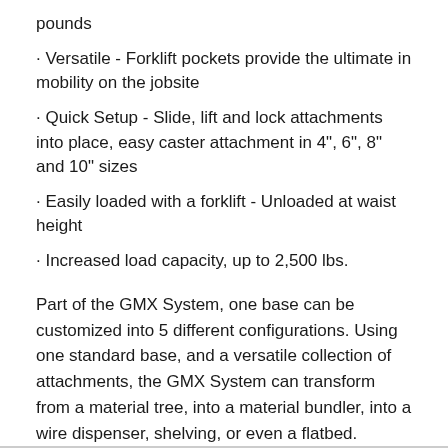pounds
· Versatile - Forklift pockets provide the ultimate in mobility on the jobsite
· Quick Setup - Slide, lift and lock attachments into place, easy caster attachment in 4", 6", 8" and 10" sizes
· Easily loaded with a forklift - Unloaded at waist height
· Increased load capacity, up to 2,500 lbs.
Part of the GMX System, one base can be customized into 5 different configurations. Using one standard base, and a versatile collection of attachments, the GMX System can transform from a material tree, into a material bundler, into a wire dispenser, shelving, or even a flatbed.